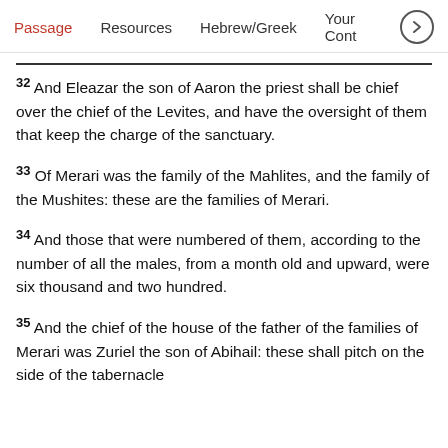Passage   Resources   Hebrew/Greek   Your Cont >
32 And Eleazar the son of Aaron the priest shall be chief over the chief of the Levites, and have the oversight of them that keep the charge of the sanctuary.
33 Of Merari was the family of the Mahlites, and the family of the Mushites: these are the families of Merari.
34 And those that were numbered of them, according to the number of all the males, from a month old and upward, were six thousand and two hundred.
35 And the chief of the house of the father of the families of Merari was Zuriel the son of Abihail: these shall pitch on the side of the tabernacle